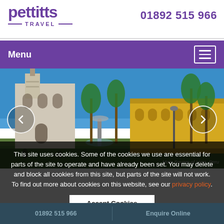pettitts TRAVEL — 01892 515 966
Menu
[Figure (photo): Main Square of Lima, Peru — colonial cathedral and yellow buildings with palm trees and a central fountain under blue sky]
Main Square of Lima, Peru
This site uses cookies. Some of the cookies we use are essential for parts of the site to operate and have already been set. You may delete and block all cookies from this site, but parts of the site will not work. To find out more about cookies on this website, see our privacy policy.
01892 515 966   Enquire Online